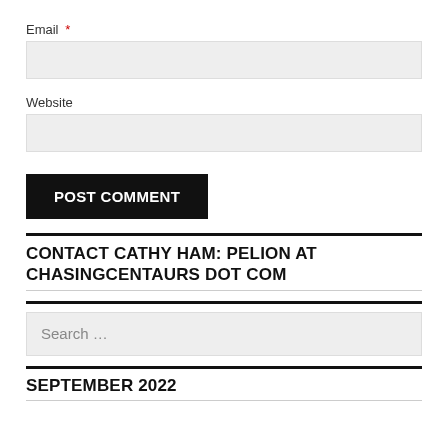Email *
[Figure (screenshot): Empty email input field (light gray background)]
Website
[Figure (screenshot): Empty website input field (light gray background)]
POST COMMENT
CONTACT CATHY HAM: PELION AT CHASINGCENTAURS DOT COM
[Figure (screenshot): Search input field with placeholder text 'Search ...']
SEPTEMBER 2022